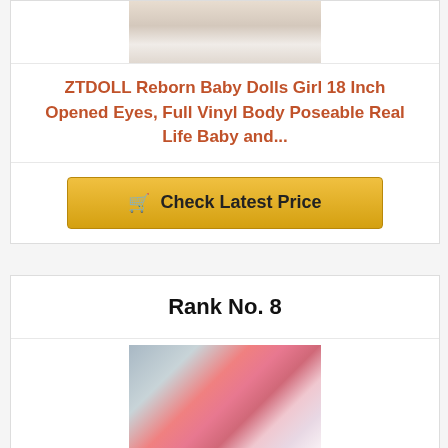[Figure (photo): Cropped product photo of a reborn baby doll in white clothing, viewed from above]
ZTDOLL Reborn Baby Dolls Girl 18 Inch Opened Eyes, Full Vinyl Body Poseable Real Life Baby and...
Check Latest Price
Rank No. 8
[Figure (photo): Photo of a dark-skinned reborn baby doll wearing a pink outfit, lying next to a white bunny stuffed animal on a gray background]